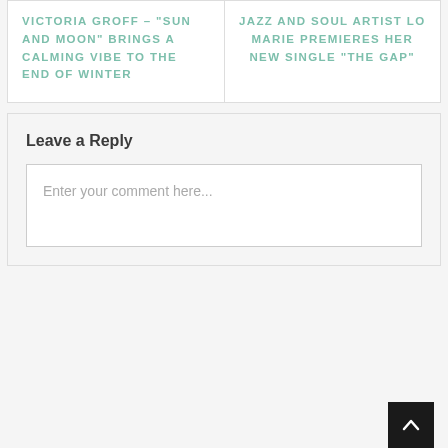VICTORIA GROFF – “SUN AND MOON” BRINGS A CALMING VIBE TO THE END OF WINTER
JAZZ AND SOUL ARTIST LO MARIE PREMIERES HER NEW SINGLE “THE GAP”
Leave a Reply
Enter your comment here...